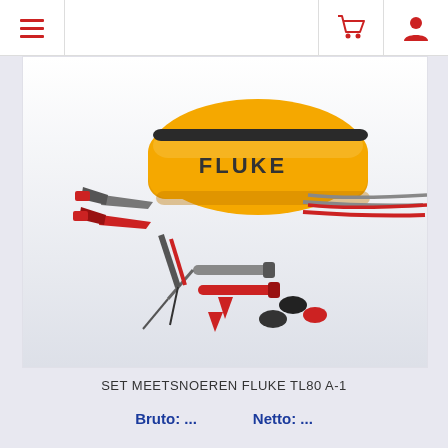Navigation bar with hamburger menu, cart icon, and user icon
[Figure (photo): Fluke TL80 A-1 test lead set product photo showing a yellow and black Fluke carrying case, two test probes (red and gray), multiple alligator clips (red and gray), needle probes, and banana plug connectors arranged on a light background]
SET MEETSNOEREN FLUKE TL80 A-1
Bruto: ...    Netto: ...